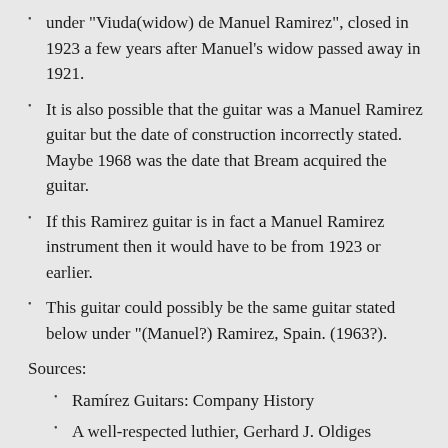under "Viuda(widow) de Manuel Ramirez", closed in 1923 a few years after Manuel's widow passed away in 1921.
It is also possible that the guitar was a Manuel Ramirez guitar but the date of construction incorrectly stated. Maybe 1968 was the date that Bream acquired the guitar.
If this Ramirez guitar is in fact a Manuel Ramirez instrument then it would have to be from 1923 or earlier.
This guitar could possibly be the same guitar stated below under "(Manuel?) Ramirez, Spain. (1963?).
Sources:
Ramírez Guitars: Company History
A well-respected luthier, Gerhard J. Oldiges